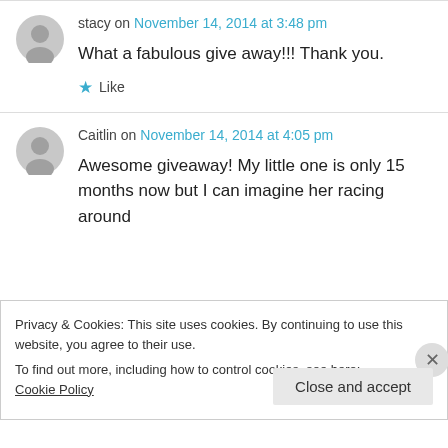stacy on November 14, 2014 at 3:48 pm
What a fabulous give away!!! Thank you.
★ Like
Caitlin on November 14, 2014 at 4:05 pm
Awesome giveaway! My little one is only 15 months now but I can imagine her racing around
Privacy & Cookies: This site uses cookies. By continuing to use this website, you agree to their use.
To find out more, including how to control cookies, see here: Cookie Policy
Close and accept